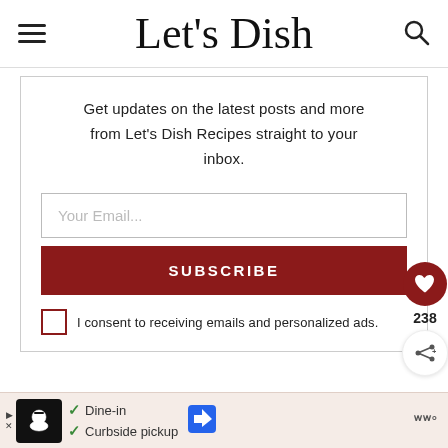Let's Dish
Get updates on the latest posts and more from Let's Dish Recipes straight to your inbox.
Your Email...
SUBSCRIBE
I consent to receiving emails and personalized ads.
238
[Figure (screenshot): Advertisement bar at bottom with restaurant logo, checkmarks for Dine-in and Curbside pickup options, navigation icon, and brand logo]
✓ Dine-in  ✓ Curbside pickup